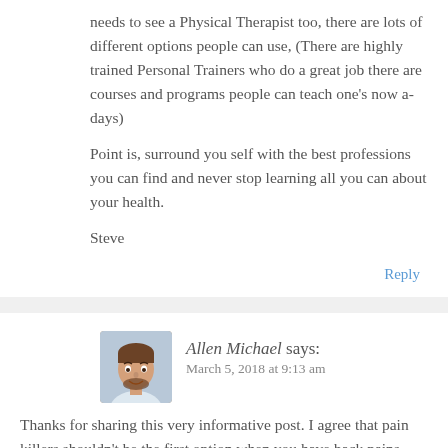needs to see a Physical Therapist too, there are lots of different options people can use, (There are highly trained Personal Trainers who do a great job there are courses and programs people can teach one’s now a-days)
Point is, surround you self with the best professions you can find and never stop learning all you can about your health.
Steve
Reply
Allen Michael says:
March 5, 2018 at 9:13 am
Thanks for sharing this very informative post. I agree that pain killers shouldn’t be the first option when you have back pains, and while there’s need for rest, it shouldn’t be too much. I agree that stretching your